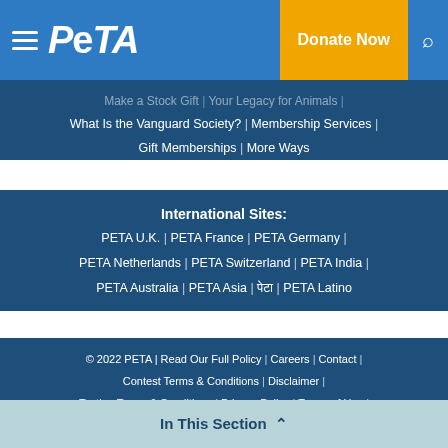PETA | Donate Now
Make a Stock Gift | Your Legacy for Animals | What Is the Vanguard Society? | Membership Services | Gift Memberships | More Ways
International Sites:
PETA U.K. | PETA France | PETA Germany | PETA Netherlands | PETA Switzerland | PETA India | PETA Australia | PETA Asia | पेटा | PETA Latino
© 2022 PETA | Read Our Full Policy | Careers | Contact | Contest Terms & Conditions | Disclaimer | Texting Terms & Conditions | Privacy Policy | Terms of Use |
In This Section ^